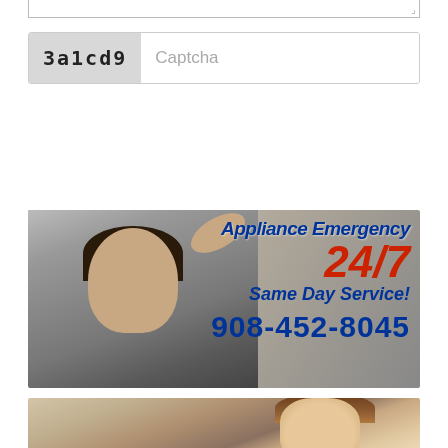[Figure (screenshot): Bottom edge of a textarea input field with resize handle]
[Figure (screenshot): CAPTCHA field showing code '3a1cd9' with input placeholder 'Captcha']
[Figure (screenshot): Green SUBMIT button]
[Figure (infographic): Appliance Emergency 24/7 Same Day Service banner with technician photo and phone number 908-452-8045]
[Figure (photo): Bottom portion showing a woman smiling, partial photo]